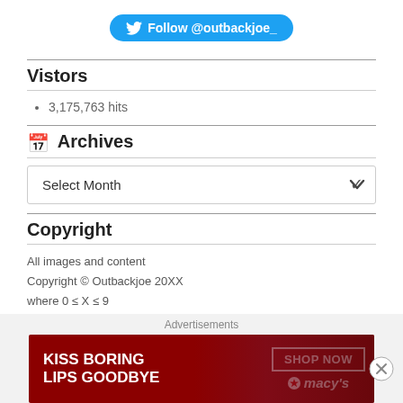[Figure (other): Twitter follow button with bird icon, text: Follow @outbackjoe_]
Vistors
3,175,763 hits
Archives
[Figure (other): Dropdown select box labeled Select Month with chevron]
Copyright
All images and content
Copyright © Outbackjoe 20XX
where 0 ≤ X ≤ 9
[Figure (other): Macy's advertisement banner: KISS BORING LIPS GOODBYE with SHOP NOW button and macys logo]